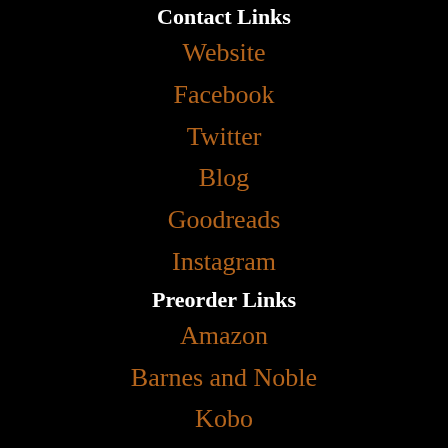Contact Links
Website
Facebook
Twitter
Blog
Goodreads
Instagram
Preorder Links
Amazon
Barnes and Noble
Kobo
iBooks